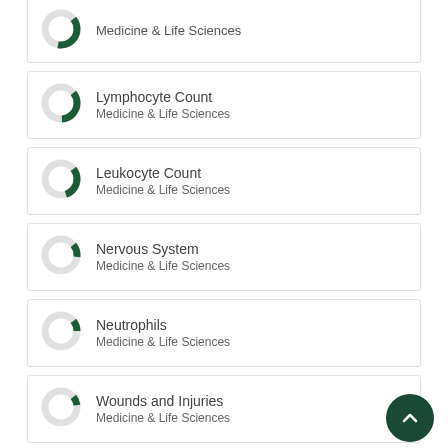[Figure (donut-chart): Partial donut chart cropped at top]
Lymphocyte Count
Medicine & Life Sciences
Leukocyte Count
Medicine & Life Sciences
Nervous System
Medicine & Life Sciences
Neutrophils
Medicine & Life Sciences
Wounds and Injuries
Medicine & Life Sciences
View full fingerprint >